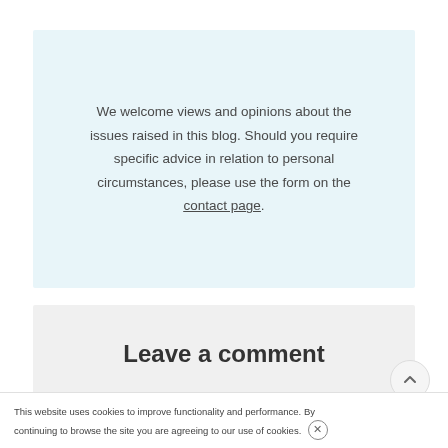We welcome views and opinions about the issues raised in this blog. Should you require specific advice in relation to personal circumstances, please use the form on the contact page.
Leave a comment
Your name:
This website uses cookies to improve functionality and performance. By continuing to browse the site you are agreeing to our use of cookies.